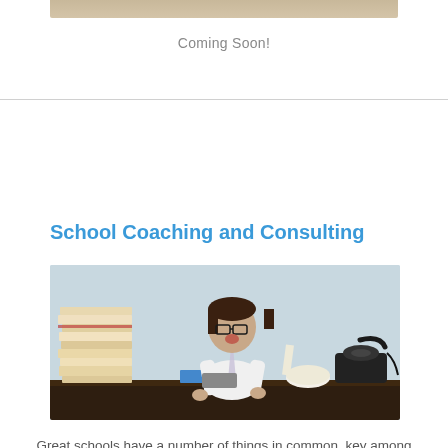[Figure (photo): Partial view of a photo at top of page, cropped]
Coming Soon!
School Coaching and Consulting
[Figure (photo): A young child dressed in professional business attire with glasses, sitting at a desk surrounded by a large stack of papers, a calculator, a vintage rotary telephone, and paper rolls. The child has an expression of surprise or excitement.]
Great schools have a number of things in common, key among them is the quality of their leaders. These leaders relentlessly pursue excellence. The Institute can assist schools in